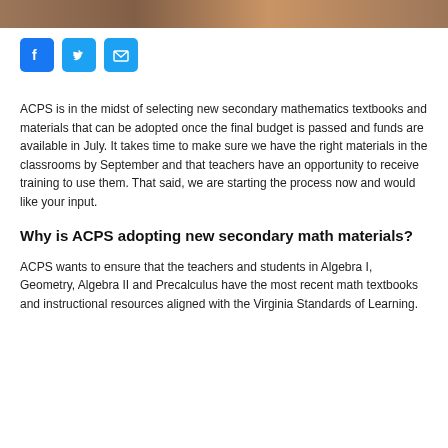[Figure (photo): Photo strip at top of page showing people in a classroom or educational setting]
[Figure (infographic): Social media share icons: Facebook (blue f), Twitter (blue bird), Email (blue envelope)]
ACPS is in the midst of selecting new secondary mathematics textbooks and materials that can be adopted once the final budget is passed and funds are available in July. It takes time to make sure we have the right materials in the classrooms by September and that teachers have an opportunity to receive training to use them. That said, we are starting the process now and would like your input.
Why is ACPS adopting new secondary math materials?
ACPS wants to ensure that the teachers and students in Algebra I, Geometry, Algebra II and Precalculus have the most recent math textbooks and instructional resources aligned with the Virginia Standards of Learning.